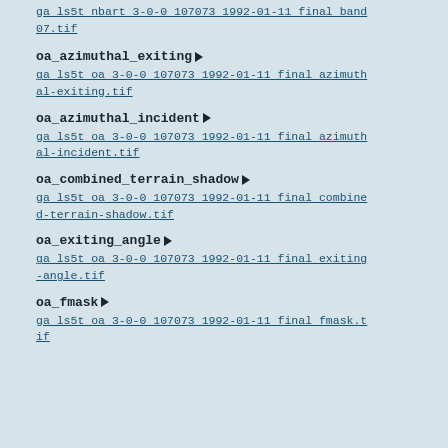ga ls5t nbart 3-0-0 107073 1992-01-11 final band 07.tif
oa_azimuthal_exiting
ga ls5t oa 3-0-0 107073 1992-01-11 final azimuthal-exiting.tif
oa_azimuthal_incident
ga ls5t oa 3-0-0 107073 1992-01-11 final azimuthal-incident.tif
oa_combined_terrain_shadow
ga ls5t oa 3-0-0 107073 1992-01-11 final combined-terrain-shadow.tif
oa_exiting_angle
ga ls5t oa 3-0-0 107073 1992-01-11 final exiting-angle.tif
oa_fmask
ga ls5t oa 3-0-0 107073 1992-01-11 final fmask.tif